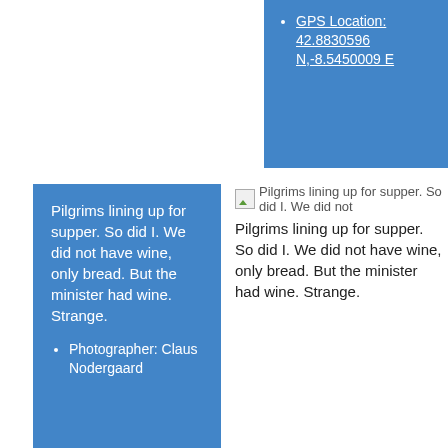GPS Location: 42.8830596 N,-8.5450009 E
[Figure (photo): Broken image placeholder icon for 'Pilgrims lining up for supper']
Pilgrims lining up for supper. So did I. We did not have wine, only bread. But the minister had wine. Strange.
Pilgrims lining up for supper. So did I. We did not have wine, only bread. But the minister had wine. Strange.
Photographer: Claus Nodergaard